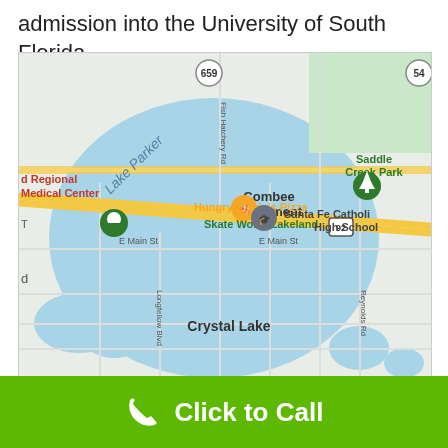admission into the University of South Florida.
[Figure (map): Google Maps screenshot showing an area of Lakeland, Florida. Visible landmarks include Lake Parker, Saddle Creek Park, Skate World Lakeland, Hungry Howie's Pizza, Santa Fe Catholic High School, Combee Settlement, Crystal Lake, E Main St, Fish Hatchery Rd, Reynolds Rd, Longfellow Blvd, US-92, and route 659.]
Click to Call